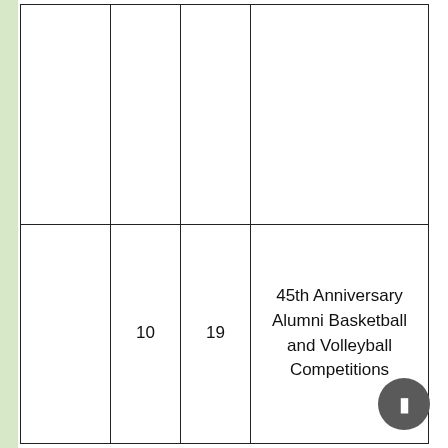|  |  |  |  |
|  | 10 | 19 | 45th Anniversary Alumni Basketball and Volleyball Competitions |